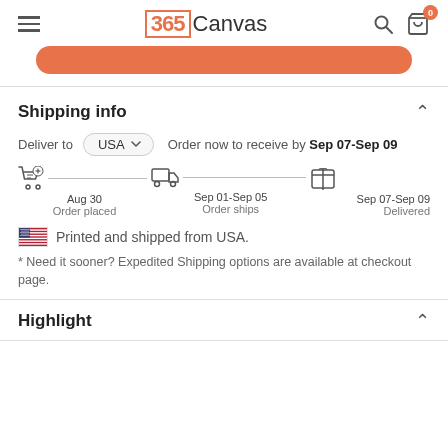365Canvas
Shipping info
Deliver to USA  Order now to receive by Sep 07-Sep 09
[Figure (infographic): Shipping timeline showing three steps: Order placed Aug 30, Order ships Sep 01-Sep 05, Delivered Sep 07-Sep 09]
Printed and shipped from USA.
* Need it sooner? Expedited Shipping options are available at checkout page.
Highlight